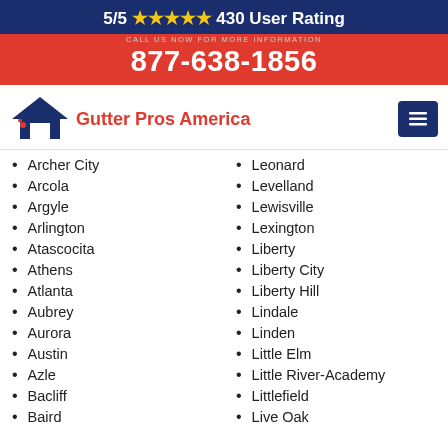5/5 ★★★★★ 430 User Rating
877-638-1856
[Figure (logo): Gutter Pros America logo with house/roof icon in dark blue and red]
Archer City
Arcola
Argyle
Arlington
Atascocita
Athens
Atlanta
Aubrey
Aurora
Austin
Azle
Bacliff
Baird
Leonard
Levelland
Lewisville
Lexington
Liberty
Liberty City
Liberty Hill
Lindale
Linden
Little Elm
Little River-Academy
Littlefield
Live Oak